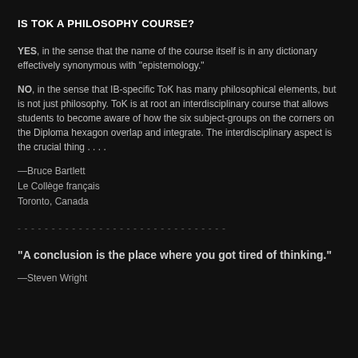IS TOK A PHILOSOPHY COURSE?
YES, in the sense that the name of the course itself is in any dictionary effectively synonymous with "epistemology."
NO, in the sense that IB-specific ToK has many philosophical elements, but is not just philosophy. ToK is at root an interdisciplinary course that allows students to become aware of how the six subject-groups on the corners on the Diploma hexagon overlap and integrate. The interdisciplinary aspect is the crucial thing . . . .
—Bruce Bartlett
Le Collège français
Toronto, Canada
- - - - - - - - - - - - - - - - - - - - - - - - - - - - - - -
"A conclusion is the place where you got tired of thinking."
—Steven Wright